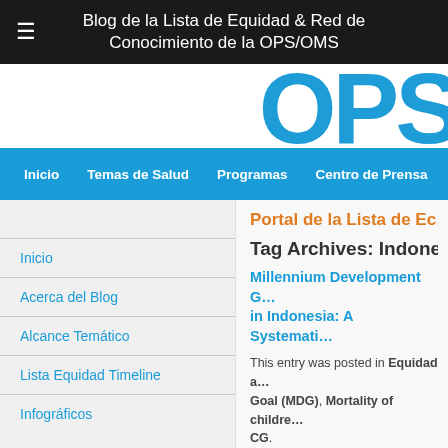≡  Blog de la Lista de Equidad & Red de Conocimiento de la OPS/OMS
[Figure (logo): OPS logo in blue large text on white background]
Inicio  Temas de Salud  Programas  Centro de Prensa  Publica...
Portal de la Lista de Ec...
Inicio
Acerca del Blog
Alcance Temático
Lista Equidad Timeline
Infográficos
Tag Archives: Indones...
Millennium Development G... in Indonesia: A Systemati...
This entry was posted in Equidad a... Goal (MDG), Mortality of childre... CG.